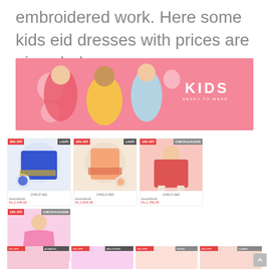embroidered work. Here some kids eid dresses with prices are given below.
[Figure (photo): Banner image of three children in colorful eid outfits holding balloons on a pink background, with text KIDS READY TO WEAR on the right side]
[Figure (photo): Product card: CHKLT-061, 30% OFF, LAHTI badge, blue embroidered kurta set. Price from Rs.3,000.00, Rs.2,449.69]
[Figure (photo): Product card: CHKLF-060, 10% OFF, LAHTI badge, peach embroidered dress. Price from Rs.3,000.00, Rs.2,829.08]
[Figure (photo): Product card: CHKLT-062, 10% OFF, CHECKALKASAB badge, red/coral kurta for girl. Price from Rs.2,000.00, Rs.1,786.08]
[Figure (photo): Product card: CHKLT-003, 10% OFF, CHECKALKASAB badge, pink dress for girl. Price from Rs.2,000.00, Rs.1,580.81]
[Figure (photo): Bottom row partial product cards with badges ALFAAORI, GALLIORON, DORBY, CLAMET and 10-20% off labels]